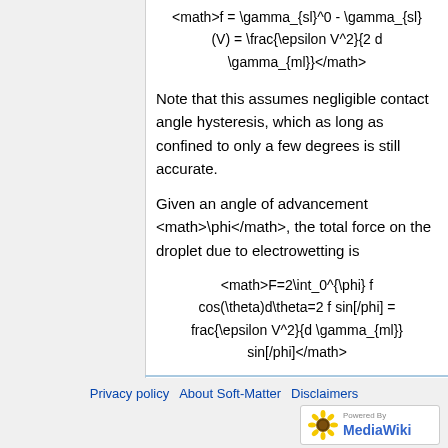Note that this assumes negligible contact angle hysteresis, which as long as confined to only a few degrees is still accurate.
Given an angle of advancement <math>\phi</math>, the total force on the droplet due to electrowetting is
Privacy policy  About Soft-Matter  Disclaimers